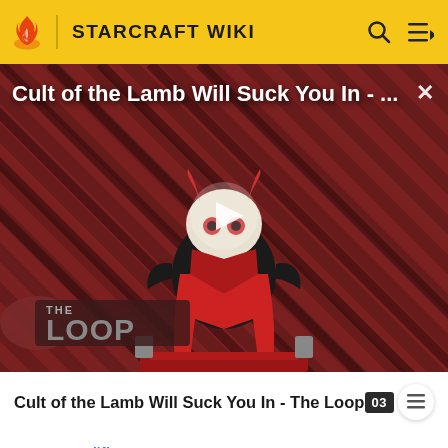STARCRAFT WIKI
[Figure (screenshot): Video thumbnail for 'Cult of the Lamb Will Suck You In - The Loop' showing an animated lamb character on a red striped background with a play button overlay and THE LOOP branding in the lower left]
Cult of the Lamb Will Suck You In - The Loop
New Austin.[10]
As the war drew on, it became obvious that the Combine [7][4]